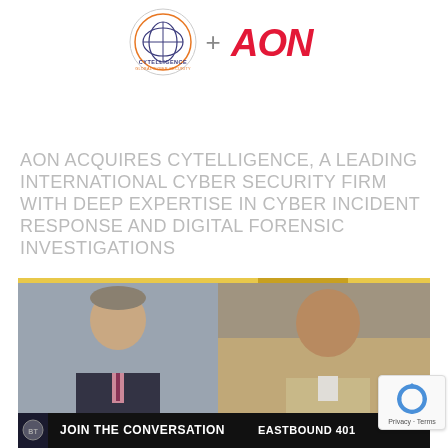[Figure (logo): Cytelligence logo (circular badge with globe graphic and text) plus sign and AON logo in red bold italic font]
AON ACQUIRES CYTELLIGENCE, A LEADING INTERNATIONAL CYBER SECURITY FIRM WITH DEEP EXPERTISE IN CYBER INCIDENT RESPONSE AND DIGITAL FORENSIC INVESTIGATIONS
[Figure (screenshot): TV broadcast screenshot showing two men in a split-screen interview format. Left side shows a man in a suit, right side shows a bald man. Lower bar reads 'JOIN THE CONVERSATION' on the left and 'EASTBOUND 401' on the right.]